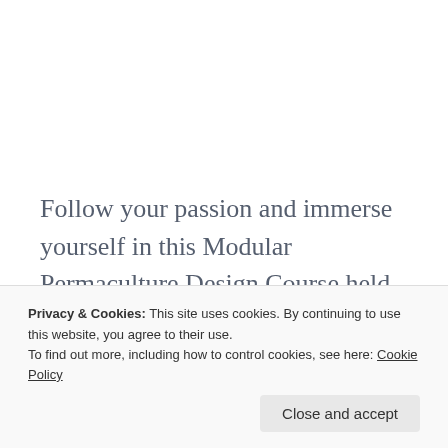Follow your passion and immerse yourself in this Modular Permaculture Design Course held in the Beautiful Byron Shire. In this hands-on course you will discover how Permaculture principles can develop resilient systems, contributing to environmental, social and personal well-being.
Privacy & Cookies: This site uses cookies. By continuing to use this website, you agree to their use.
To find out more, including how to control cookies, see here: Cookie Policy
home garden to commercial production. You will